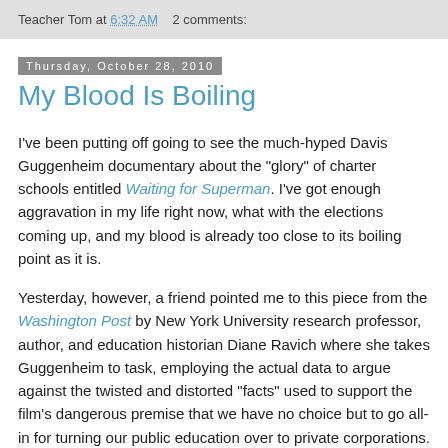Teacher Tom at 6:32 AM   2 comments:
Thursday, October 28, 2010
My Blood Is Boiling
I've been putting off going to see the much-hyped Davis Guggenheim documentary about the "glory" of charter schools entitled Waiting for Superman. I've got enough aggravation in my life right now, what with the elections coming up, and my blood is already too close to its boiling point as it is.
Yesterday, however, a friend pointed me to this piece from the Washington Post by New York University research professor, author, and education historian Diane Ravich where she takes Guggenheim to task, employing the actual data to argue against the twisted and distorted "facts" used to support the film's dangerous premise that we have no choice but to go all-in for turning our public education over to private corporations. It turns out that this is a condensed version of her review of the movie in the Los Angeles...